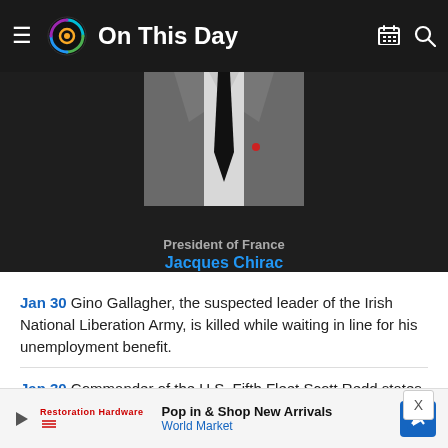On This Day
[Figure (photo): Person in suit and dark tie, partial view from chest up, dark background. President of France Jacques Chirac.]
President of France
Jacques Chirac
Jan 30 Gino Gallagher, the suspected leader of the Irish National Liberation Army, is killed while waiting in line for his unemployment benefit.
Jan 30 Commander of the U.S. Fifth Fleet Scott Redd states that Iran test-fired a new anti-ship missile near the Strait of Hormuz
Pop in & Shop New Arrivals World Market